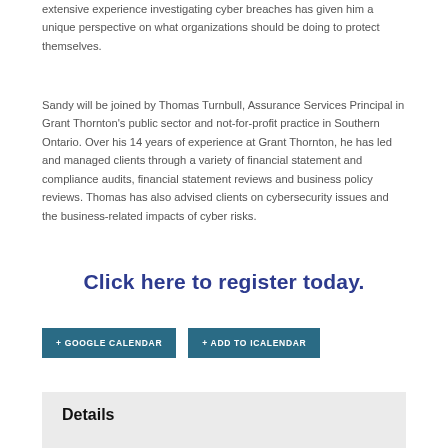extensive experience investigating cyber breaches has given him a unique perspective on what organizations should be doing to protect themselves.
Sandy will be joined by Thomas Turnbull, Assurance Services Principal in Grant Thornton's public sector and not-for-profit practice in Southern Ontario. Over his 14 years of experience at Grant Thornton, he has led and managed clients through a variety of financial statement and compliance audits, financial statement reviews and business policy reviews. Thomas has also advised clients on cybersecurity issues and the business-related impacts of cyber risks.
Click here to register today.
+ GOOGLE CALENDAR
+ ADD TO ICALENDAR
Details